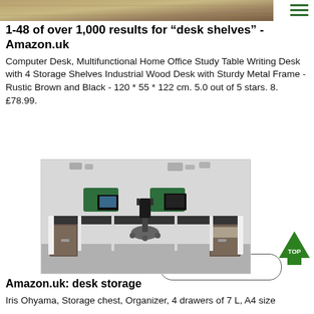[Figure (photo): Top portion of a wooden desk/flooring image]
1-48 of over 1,000 results for "desk shelves" - Amazon.uk
Computer Desk, Multifunctional Home Office Study Table Writing Desk with 4 Storage Shelves Industrial Wood Desk with Sturdy Metal Frame - Rustic Brown and Black - 120 * 55 * 122 cm. 5.0 out of 5 stars. 8. £78.99.
[Figure (other): Contact us button with download icon]
[Figure (photo): Office desk setup with two workstations featuring green privacy screens, monitors, office chairs, and storage cabinets on a grey floor with world map wall art]
Amazon.uk: desk storage
Iris Ohyama, Storage chest, Organizer, 4 drawers of 7 L, A4 size